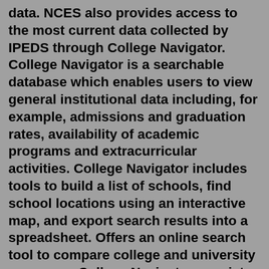data. NCES also provides access to the most current data collected by IPEDS through College Navigator. College Navigator is a searchable database which enables users to view general institutional data including, for example, admissions and graduation rates, availability of academic programs and extracurricular activities. College Navigator includes tools to build a list of schools, find school locations using an interactive map, and export search results into a spreadsheet. Offers an online search tool to compare college and university programs. College Navigator consists primarily of the latest data from the Integrated Postsecondary Education Data System (IPEDS), the core postsecondary education data collection program for the National Center for Education Statistics (NCES). Data regarding institutional characteristics, institutional prices, enrollment, student financial aid, student ...Reporting Resources. Access resources that will help with successful submission. Registration. The 2021-22 data